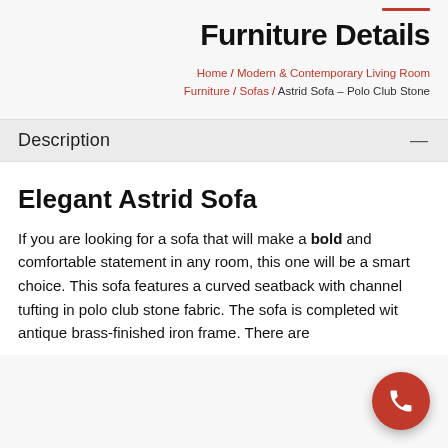Furniture Details
Home / Modern & Contemporary Living Room Furniture / Sofas / Astrid Sofa – Polo Club Stone
Description
Elegant Astrid Sofa
If you are looking for a sofa that will make a bold and comfortable statement in any room, this one will be a smart choice. This sofa features a curved seatback with channel tufting in polo club stone fabric. The sofa is completed with antique brass-finished iron frame. There are